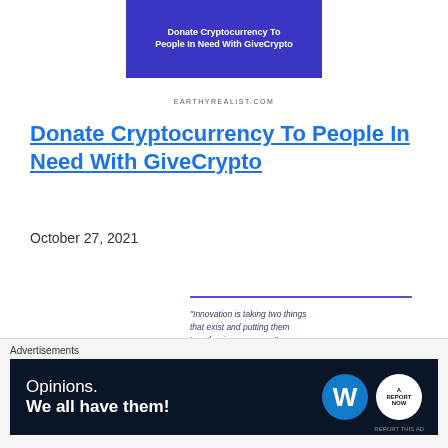[Figure (illustration): Blue banner advertisement for GiveCrypto with white bold text: 'Donate Cryptocurrency To People In Need With GiveCrypto']
EARTHYREALIST.COM
Donate Cryptocurrency To People In Need With GiveCrypto
October 27, 2021
[Figure (infographic): Quote box with purple horizontal lines above and below. Quote text: '"Innovation is taking two things that exist and putting them together in a new way."' Attribution: '- Tom Freston']
[Figure (logo): Earthy Realist logo with icons and text 'EARTHY REALIST']
Advertisements
[Figure (infographic): Dark navy blue advertisement banner with text 'Opinions. We all have them!' and WordPress logo and another circular logo on the right]